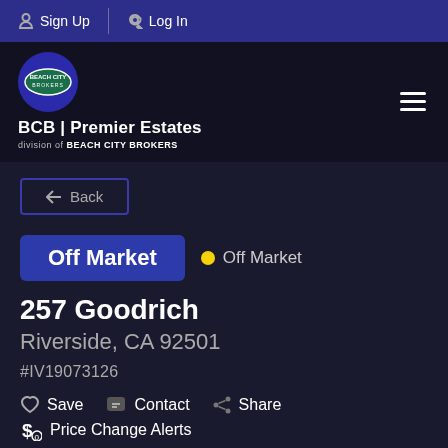Sign Up  Log In
[Figure (logo): Beach City Brokers logo with BCB | Premier Estates branding and hamburger menu]
← Back
Off Market  ● Off Market
257 Goodrich
Riverside, CA 92501
#IV19073126
Save  Contact  Share
Price Change Alerts